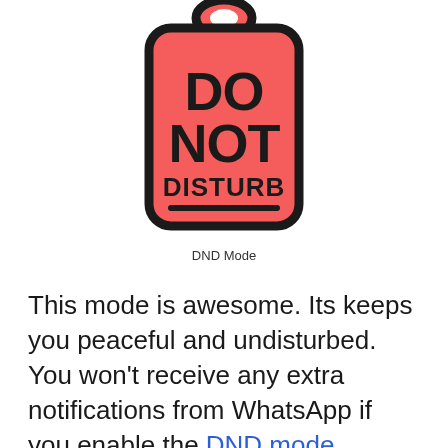[Figure (illustration): A red Do Not Disturb door hanger tag with bold black text reading DO NOT DISTURB and a horizontal line underneath, with a black outline and rounded rectangular shape with a hole at the top.]
DND Mode
This mode is awesome. Its keeps you peaceful and undisturbed. You won't receive any extra notifications from WhatsApp if you enable the DND mode.